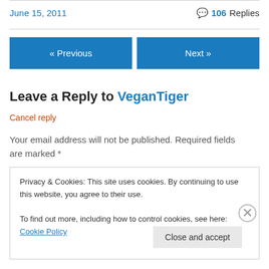June 15, 2011
106 Replies
« Previous
Next »
Leave a Reply to VeganTiger
Cancel reply
Your email address will not be published. Required fields are marked *
Privacy & Cookies: This site uses cookies. By continuing to use this website, you agree to their use.
To find out more, including how to control cookies, see here: Cookie Policy
Close and accept